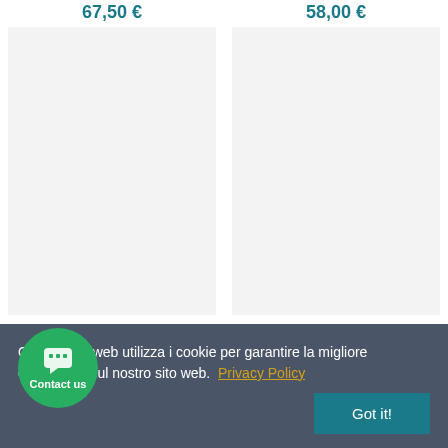67,50 €
58,00 €
[Figure (photo): Product image placeholder for Loire Satin Fly Hood Peacock (light gray box)]
[Figure (photo): Product image placeholder for Loire Satin Fly Hood Black (light gray box)]
Loire Satin Fly Hood Peacock
Loire Satin Fly Hood Black
Questo sito web utilizza i cookie per garantire la migliore esperienza sul nostro sito web.  Privacy Policy
Got it!